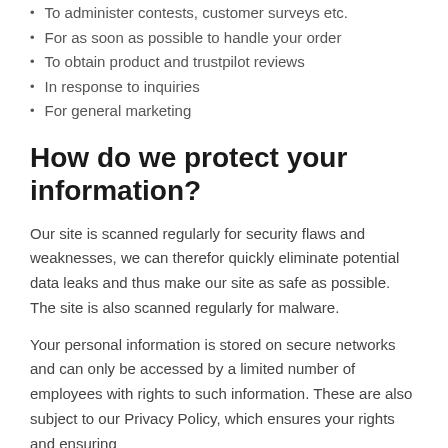To administer contests, customer surveys etc.
For as soon as possible to handle your order
To obtain product and trustpilot reviews
In response to inquiries
For general marketing
How do we protect your information?
Our site is scanned regularly for security flaws and weaknesses, we can therefor quickly eliminate potential data leaks and thus make our site as safe as possible. The site is also scanned regularly for malware.
Your personal information is stored on secure networks and can only be accessed by a limited number of employees with rights to such information. These are also subject to our Privacy Policy, which ensures your rights and ensuring